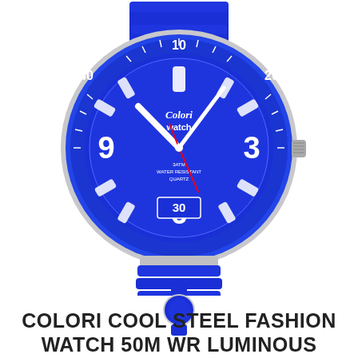[Figure (photo): Large Colori brand blue sport watch with blue rubber strap, blue dial showing numbers 3, 6, 9, 40, 20, white hour markers, red second hand, rotating bezel with minute markers, crown on right side. Brand text 'Colori watch' on dial. 3ATM Water Resistant Quartz text visible. Below it a smaller thumbnail of the same watch.]
COLORI COOL STEEL FASHION WATCH 50M WR LUMINOUS